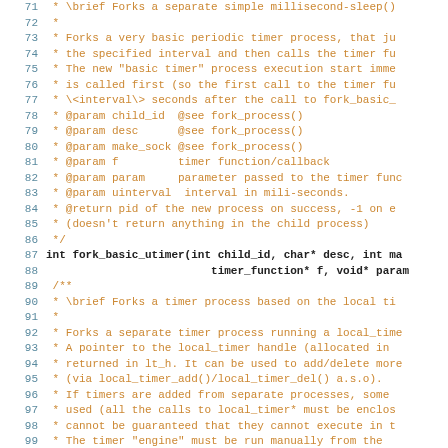[Figure (screenshot): Source code listing (C/C++ documentation comment and function signature) with line numbers 71-99. Line numbers in blue-grey, code/comments in orange monospace font, function signatures in bold black.]